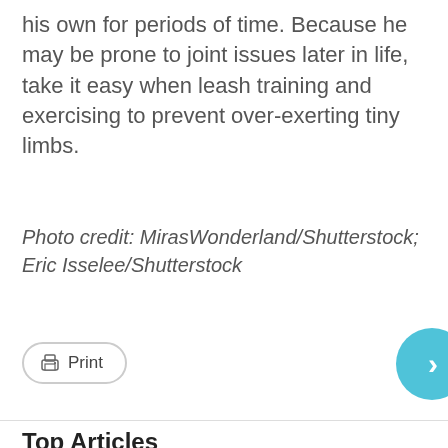his own for periods of time. Because he may be prone to joint issues later in life, take it easy when leash training and exercising to prevent over-exerting tiny limbs.
Photo credit: MirasWonderland/Shutterstock; Eric Isselee/Shutterstock
Top Articles
[Figure (photo): Two partially visible article thumbnail images at the bottom of the page]